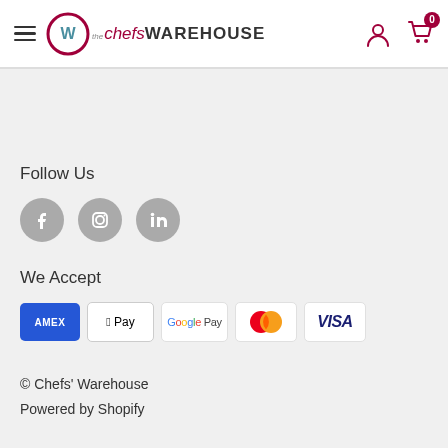[Figure (logo): The Chefs' Warehouse logo with hamburger menu icon on top navigation bar]
Follow Us
[Figure (infographic): Three social media icons: Facebook, Instagram, LinkedIn — gray circles with white icons]
We Accept
[Figure (infographic): Payment method icons: American Express (blue), Apple Pay (white with border), Google Pay (white), Mastercard (red/orange circles), Visa (white)]
© Chefs' Warehouse
Powered by Shopify